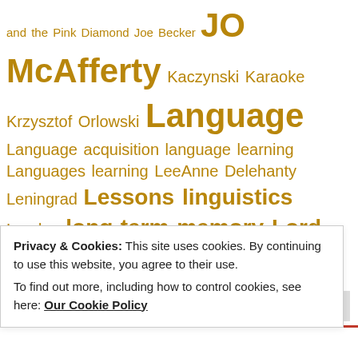and the Pink Diamond Joe Becker JO McAfferty Kaczynski Karaoke Krzysztof Orlowski Language Language acquisition language learning Languages learning LeeAnne Delehanty Leningrad Lessons linguistics London long-term memory Lord Moggy Lviv Lvov Madrid Matt Hollick Michel Thomas Mike Mendoza Moscow Much Ado About Polish Musical Muckaround New York Ochota Parents phantom of the opera Playradio Poland Polish language postaday2011 Prague Prague vlog Pushkin Carousel Religion and...
Privacy & Cookies: This site uses cookies. By continuing to use this website, you agree to their use. To find out more, including how to control cookies, see here: Our Cookie Policy